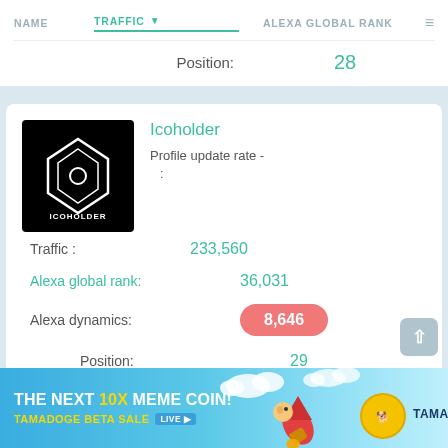| NAME | TRAFFIC ↓ | ALEXA GLOBAL RANK |
| --- | --- | --- |
|  | Position: | 28 |
[Figure (screenshot): Icoholder logo — white geometric diamond/hexagon shape on black background with text ICOHOLDER]
Icoholder
Profile update rate - :
Traffic : 233,560
Alexa global rank: 36,031
Alexa dynamics: 8,646
Position: 29
[Figure (infographic): Advertisement banner: THE NEXT 10X MEME COIN! TAMADOGE BETA SALE LIVE — with cartoon dog on rocket and Tamadoge logo on sky blue background]